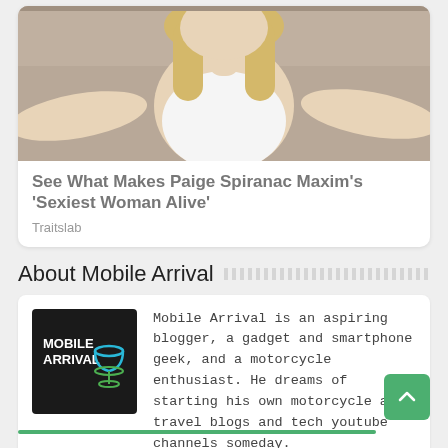[Figure (photo): Photo of a blonde woman in a white tied crop top with arms spread out]
See What Makes Paige Spiranac Maxim's 'Sexiest Woman Alive'
Traitslab
About Mobile Arrival
[Figure (logo): Mobile Arrival logo: black background with text MOBILE ARRIVAL and a blue/green icon]
Mobile Arrival is an aspiring blogger, a gadget and smartphone geek, and a motorcycle enthusiast. He dreams of starting his own motorcycle and travel blogs and tech youtube channels someday.